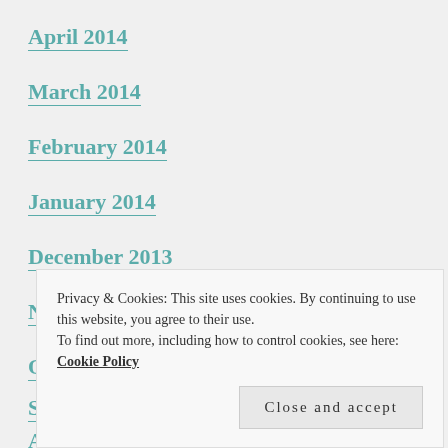April 2014
March 2014
February 2014
January 2014
December 2013
November 2013
October 2013
S...
A...
July 2013
Privacy & Cookies: This site uses cookies. By continuing to use this website, you agree to their use. To find out more, including how to control cookies, see here: Cookie Policy
Close and accept